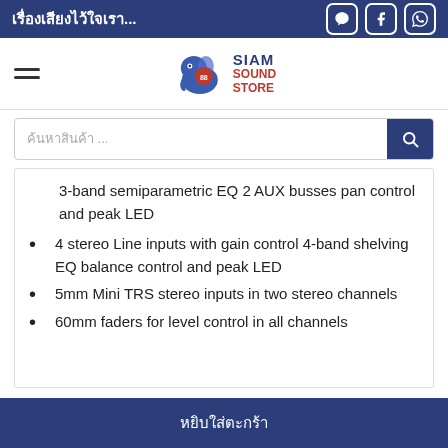เรื่องเสียงไว้ใจเรา...
[Figure (logo): Siam Sound Store logo with elephant graphic]
ค้นหาสินค้า ...
3-band semiparametric EQ 2 AUX busses pan control and peak LED
4 stereo Line inputs with gain control 4-band shelving EQ balance control and peak LED
5mm Mini TRS stereo inputs in two stereo channels
60mm faders for level control in all channels
หยิบใส่ตะกร้า